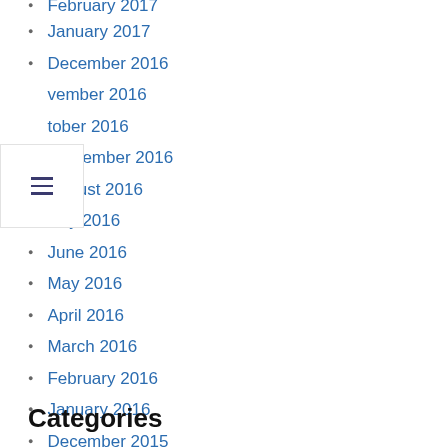February 2017
January 2017
December 2016
November 2016
October 2016
September 2016
August 2016
July 2016
June 2016
May 2016
April 2016
March 2016
February 2016
January 2016
December 2015
Categories